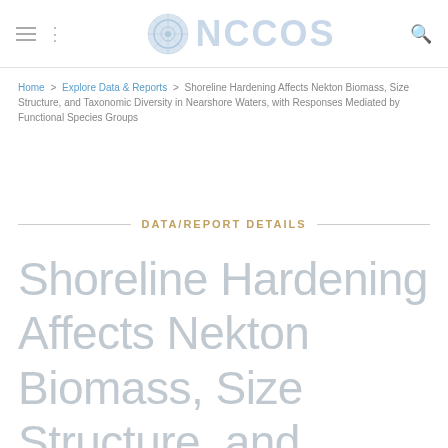NCCOS
Home > Explore Data & Reports > Shoreline Hardening Affects Nekton Biomass, Size Structure, and Taxonomic Diversity in Nearshore Waters, with Responses Mediated by Functional Species Groups
DATA/REPORT DETAILS
Shoreline Hardening Affects Nekton Biomass, Size Structure, and Taxonomic Diversity in Nearshore